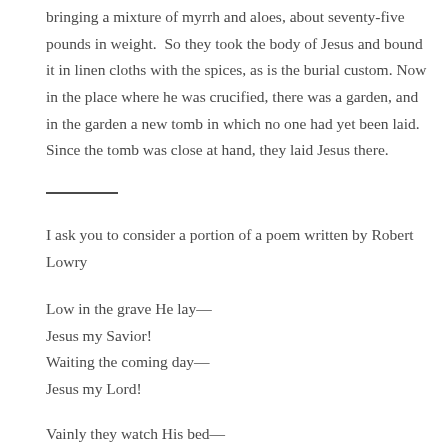bringing a mixture of myrrh and aloes, about seventy-five pounds in weight. So they took the body of Jesus and bound it in linen cloths with the spices, as is the burial custom. Now in the place where he was crucified, there was a garden, and in the garden a new tomb in which no one had yet been laid. Since the tomb was close at hand, they laid Jesus there.
I ask you to consider a portion of a poem written by Robert Lowry
Low in the grave He lay—
Jesus my Savior!
Waiting the coming day—
Jesus my Lord!

Vainly they watch His bed—